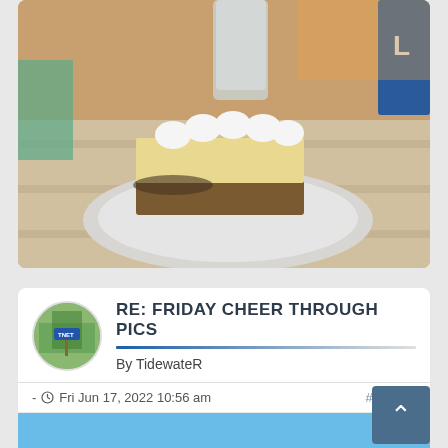[Figure (photo): Photo of a slice of key lime pie with whipped cream on a white plate, placed on an outdoor table with a drink in background, sunset lighting]
RE: FRIDAY CHEER THROUGH PICS
By TidewateR
- Fri Jun 17, 2022 10:56 am
#703275
[Figure (photo): Partial photo showing blue sky and what appears to be a tent or awning structure]